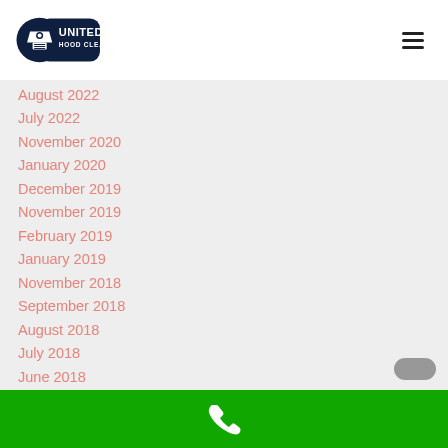[Figure (logo): United Hood Cleaning logo — dark navy pill/badge shape with a range hood icon and 'UNITED HOOD CLEANING' text in white]
August 2022
July 2022
November 2020
January 2020
December 2019
November 2019
February 2019
January 2019
November 2018
September 2018
August 2018
July 2018
June 2018
Phone icon on green bar